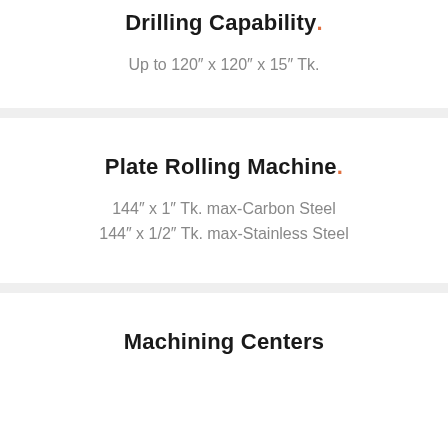Drilling Capability.
Up to 120" x 120" x 15" Tk.
Plate Rolling Machine.
144" x 1" Tk. max-Carbon Steel
144" x 1/2" Tk. max-Stainless Steel
Machining Centers